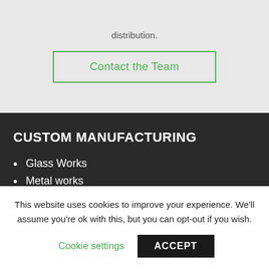distribution.
Contact the Team
CUSTOM MANUFACTURING
Glass Works
Metal works
Eco Materials
Beko and More
This website uses cookies to improve your experience. We'll assume you're ok with this, but you can opt-out if you wish.
Cookie settings
ACCEPT